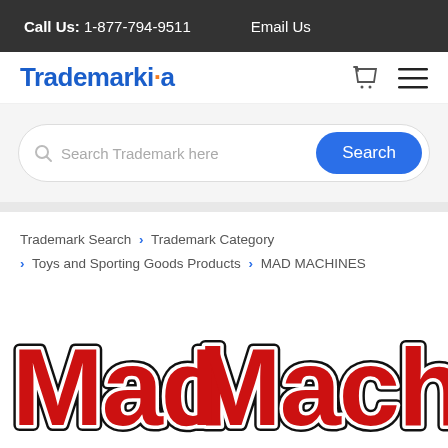Call Us: 1-877-794-9511    Email Us
[Figure (logo): Trademarkia logo with blue text and orange dot on the letter i]
[Figure (screenshot): Search bar with placeholder 'Search Trademark here' and blue Search button]
Trademark Search > Trademark Category > Toys and Sporting Goods Products > MAD MACHINES
[Figure (logo): Mad Machines brand logo in bold red graffiti-style lettering with black outline on white background]